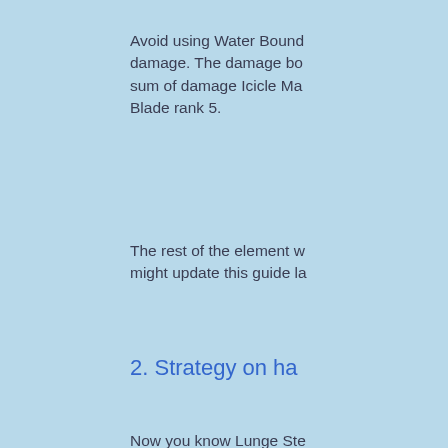Avoid using Water Bound damage. The damage bo sum of damage Icicle Ma Blade rank 5.
The rest of the element w might update this guide la
2. Strategy on ha
Now you know Lunge Ste those 3 are utility you ca be sure to always have 1 emergency. Having the la be avoided or perfect blo
Always Use your lunge s speed a lot. As soon as y